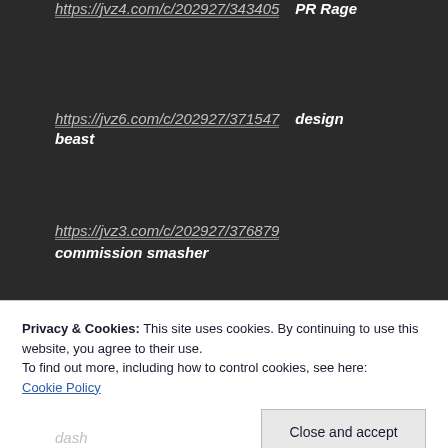https://jvz4.com/c/202927/343405  PR Rage
https://jvz6.com/c/202927/371547  design beast
https://jvz3.com/c/202927/376879  commission smasher
Privacy & Cookies: This site uses cookies. By continuing to use this website, you agree to their use.
To find out more, including how to control cookies, see here:
Cookie Policy
Close and accept
dash